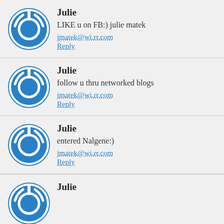Julie
LIKE u on FB:) julie matek
jmatek@wi.rr.com
Reply
Julie
follow u thru networked blogs
jmatek@wi.rr.com
Reply
Julie
entered Nalgene:)
jmatek@wi.rr.com
Reply
Julie